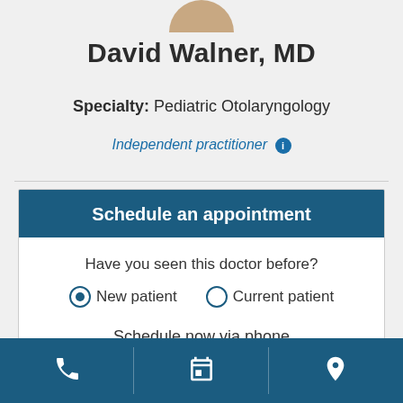[Figure (photo): Cropped photo of doctor (head/shoulders, partially visible at top of page)]
David Walner, MD
Specialty: Pediatric Otolaryngology
Independent practitioner ℹ
Schedule an appointment
Have you seen this doctor before?
New patient   Current patient
Schedule now via phone
1-844-3-ADVOCATE
Phone | Calendar | Location